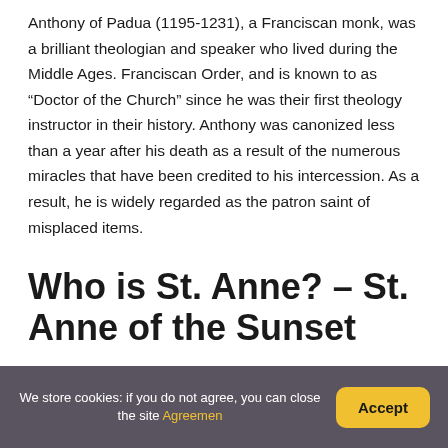Anthony of Padua (1195-1231), a Franciscan monk, was a brilliant theologian and speaker who lived during the Middle Ages. Franciscan Order, and is known to as “Doctor of the Church” since he was their first theology instructor in their history. Anthony was canonized less than a year after his death as a result of the numerous miracles that have been credited to his intercession. As a result, he is widely regarded as the patron saint of misplaced items.
Who is St. Anne? – St. Anne of the Sunset
We store cookies: if you do not agree, you can close the site Agreemen